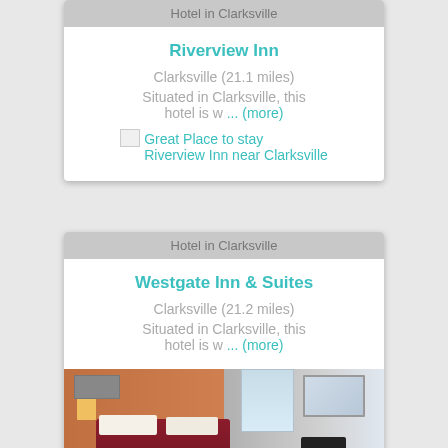Hotel in Clarksville
Riverview Inn
Clarksville (21.1 miles)
Situated in Clarksville, this hotel is w ... (more)
Great Place to stay Riverview Inn near Clarksville
Hotel in Clarksville
Westgate Inn & Suites
Clarksville (21.2 miles)
Situated in Clarksville, this hotel is w ... (more)
[Figure (photo): Hotel room photo showing bed with dark red/maroon bedding and pillows, orange-brown walls on the left side, lighter walls and mirror on the right, TV visible]